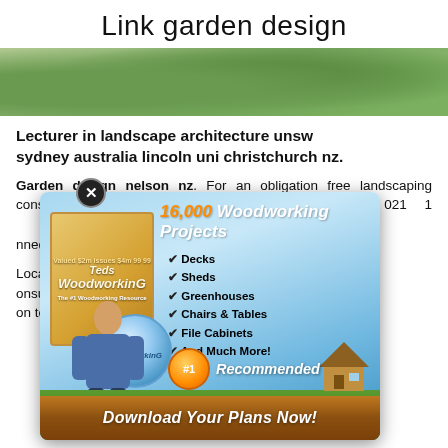Link garden design
[Figure (photo): Green lawn grass photo strip]
Lecturer in landscape architecture unsw sydney australia lincoln uni christchurch nz.
Garden design nelson nz. For an obligation free landscaping consultation in the nelson region call us on 021 1... limited 7072 ... nnedy const...
Locat... elson. Senic... onsult the e... t with all y... on to desig... roject mana...
[Figure (infographic): 16,000 Woodworking Projects popup ad showing book box, CD disc, man figure, checklist of Decks, Sheds, Greenhouses, Chairs & Tables, File Cabinets, And Much More!, #1 Recommended badge, and Download Your Plans Now! button]